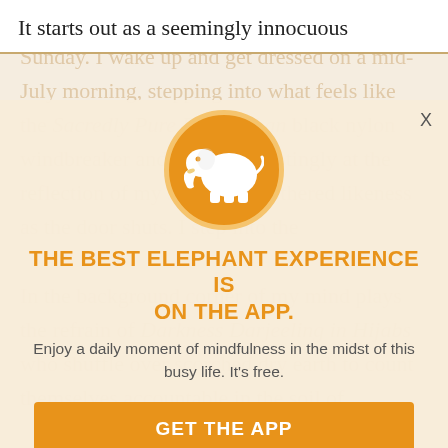It starts out as a seemingly innocuous
Sunday. I wake up and get dressed on a mid-July morning, stepping into what feels like the Sacredly Pure Elizabethan black nylon windbreaker and glance acceptingly at the reflection of my solemn unbothered likeness as the door shuts. I step into the the background corner of my mind plays the refrain of Darkness Darjeeling in Hijabs who shuffle over scorched dry earth to count themselves accountable in the soil of
[Figure (logo): White elephant silhouette on orange circle with golden border — Elephant Journal app logo]
THE BEST ELEPHANT EXPERIENCE IS ON THE APP.
Enjoy a daily moment of mindfulness in the midst of this busy life. It's free.
GET THE APP
OPEN IN APP